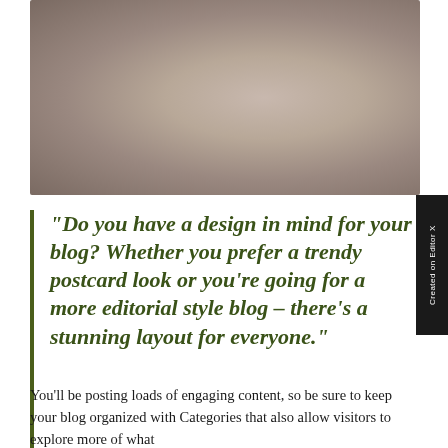[Figure (photo): Blurred soft-focus photograph with warm muted tones in beige, taupe, and dark grey]
“Do you have a design in mind for your blog? Whether you prefer a trendy postcard look or you’re going for a more editorial style blog – there’s a stunning layout for everyone.”
You’ll be posting loads of engaging content, so be sure to keep your blog organized with Categories that also allow visitors to explore more of what